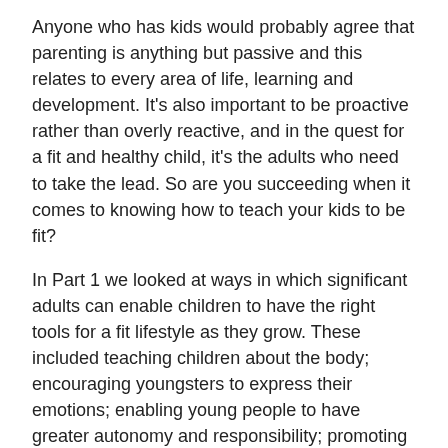Anyone who has kids would probably agree that parenting is anything but passive and this relates to every area of life, learning and development. It's also important to be proactive rather than overly reactive, and in the quest for a fit and healthy child, it's the adults who need to take the lead. So are you succeeding when it comes to knowing how to teach your kids to be fit?
In Part 1 we looked at ways in which significant adults can enable children to have the right tools for a fit lifestyle as they grow. These included teaching children about the body; encouraging youngsters to express their emotions; enabling young people to have greater autonomy and responsibility; promoting an interest in sports; and helping establish the benefits of a healthy diet. If you're looking for further inspiration to teach kids to be fit, then read on:
Personal best: Children who put themselves